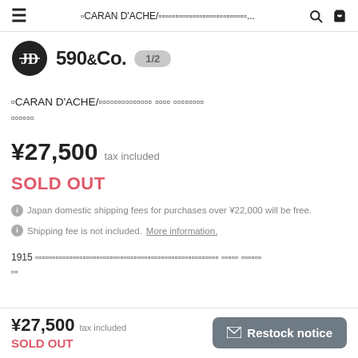≡ CARAN D'ACHE/カランダッシュ... 🔍 🛒
[Figure (logo): 590&Co. brand logo with JD monogram and 1/2 badge]
◻CARAN D'ACHE/カランダッシュ◻◻◻◻◻◻◻◻◻◻◻◻◻◻ ◻◻◻◻ ◻◻◻◻◻◻◻◻ ◻◻◻◻◻◻
¥27,500  tax included
SOLD OUT
ℹ Japan domestic shipping fees for purchases over ¥22,000 will be free.
ℹ Shipping fee is not included. More information.
1915 ◻◻◻◻◻◻◻◻◻◻◻◻◻◻◻◻◻◻◻◻◻◻◻◻◻◻◻◻◻◻◻◻◻◻◻◻◻◻◻◻◻◻◻◻◻◻◻◻◻◻◻◻◻◻ ◻◻◻◻◻ ◻◻◻◻◻◻ ◻◻
¥27,500 tax included  SOLD OUT   ✉ Restock notice